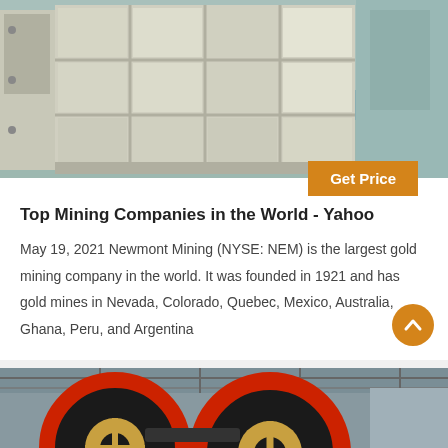[Figure (photo): Industrial mining machinery - large jaw crusher or similar heavy equipment with grid-like metal frame, photographed inside a factory/warehouse with concrete floor]
Top Mining Companies in the World - Yahoo
May 19, 2021 Newmont Mining (NYSE: NEM) is the largest gold mining company in the world. It was founded in 1921 and has gold mines in Nevada, Colorado, Quebec, Mexico, Australia, Ghana, Peru, and Argentina
[Figure (photo): Industrial mining machinery - large red and black flywheels/wheels of a jaw crusher inside a manufacturing facility]